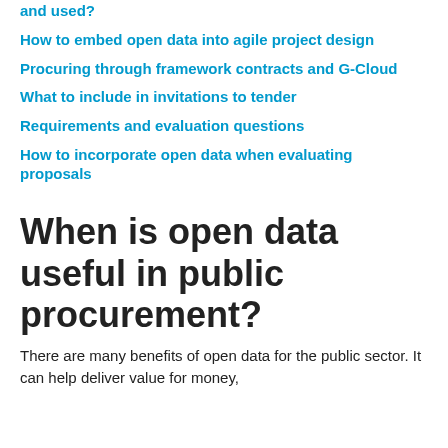and used?
How to embed open data into agile project design
Procuring through framework contracts and G-Cloud
What to include in invitations to tender
Requirements and evaluation questions
How to incorporate open data when evaluating proposals
When is open data useful in public procurement?
There are many benefits of open data for the public sector. It can help deliver value for money,